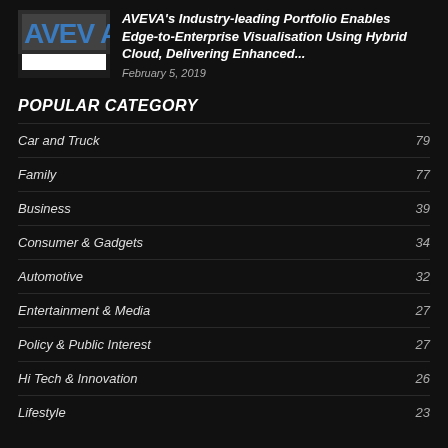[Figure (logo): AVEVA company logo with blue text on dark background]
AVEVA's Industry-leading Portfolio Enables Edge-to-Enterprise Visualisation Using Hybrid Cloud, Delivering Enhanced...
February 5, 2019
POPULAR CATEGORY
Car and Truck  79
Family  77
Business  39
Consumer & Gadgets  34
Automotive  32
Entertainment & Media  27
Policy & Public Interest  27
Hi Tech & Innovation  26
Lifestyle  23